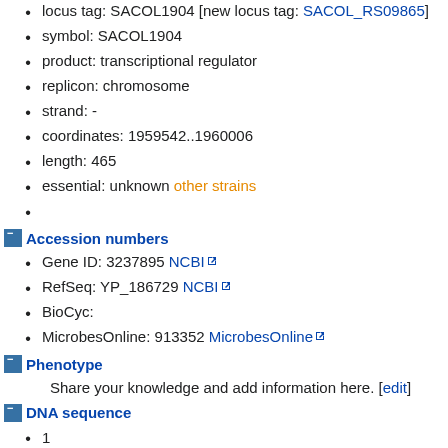locus tag: SACOL1904 [new locus tag: SACOL_RS09865]
symbol: SACOL1904
product: transcriptional regulator
replicon: chromosome
strand: -
coordinates: 1959542..1960006
length: 465
essential: unknown other strains
Accession numbers
Gene ID: 3237895 NCBI
RefSeq: YP_186729 NCBI
BioCyc:
MicrobesOnline: 913352 MicrobesOnline
Phenotype
Share your knowledge and add information here. [edit]
DNA sequence
1
61
121
181
241